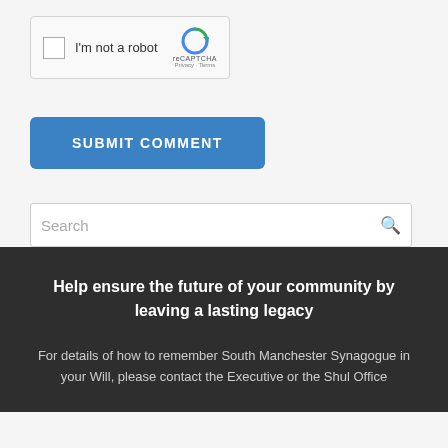[Figure (screenshot): reCAPTCHA widget with checkbox labeled 'I'm not a robot' and reCAPTCHA logo with Privacy and Terms links]
SUBMIT COMMENT
Search
Help ensure the future of your community by leaving a lasting legacy
For details of how to remember South Manchester Synagogue in your Will, please contact the Executive or the Shul Office